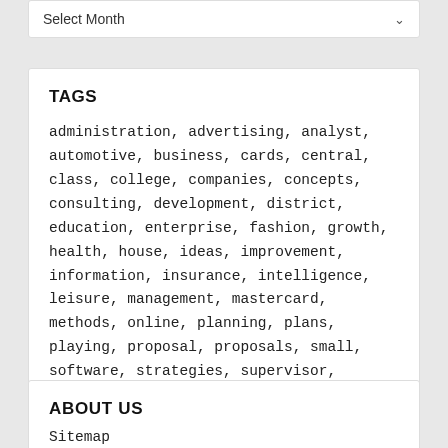Select Month
TAGS
administration, advertising, analyst, automotive, business, cards, central, class, college, companies, concepts, consulting, development, district, education, enterprise, fashion, growth, health, house, ideas, improvement, information, insurance, intelligence, leisure, management, mastercard, methods, online, planning, plans, playing, proposal, proposals, small, software, strategies, supervisor, technology, templates, travel, world, write, writing
ABOUT US
Sitemap